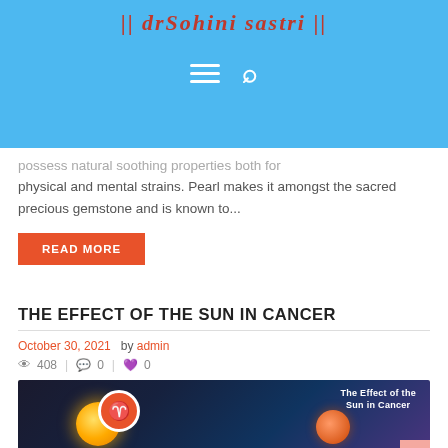|| dr Sohini Sastri ||
possess natural soothing properties both for physical and mental strains. Pearl makes it amongst the sacred precious gemstone and is known to...
READ MORE
THE EFFECT OF THE SUN IN CANCER
October 30, 2021  by admin
408  |  0  |  0
[Figure (photo): Artistic space image showing the sun, Cancer zodiac sign badge, and planets on dark background. Text overlay reads 'The Effect of the Sun in Cancer'.]